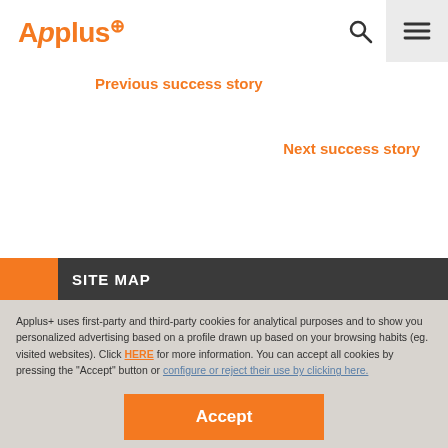Applus+
Previous success story
Next success story
SITE MAP
Applus+ uses first-party and third-party cookies for analytical purposes and to show you personalized advertising based on a profile drawn up based on your browsing habits (eg. visited websites). Click HERE for more information. You can accept all cookies by pressing the "Accept" button or configure or reject their use by clicking here.
Accept